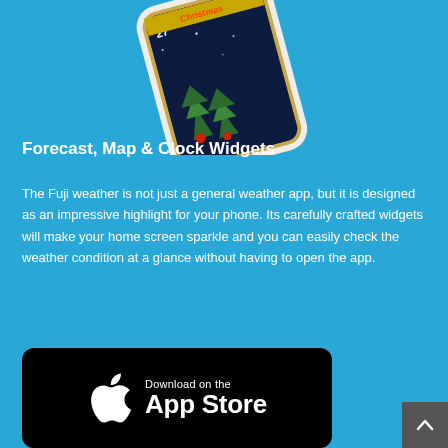[Figure (photo): Partial view of a smartphone displaying a Christmas-themed weather app screen, tilted at an angle, showing temperature 27° and festive graphics with trees and decorations on a dark background with a gold border.]
Forecast, Map & Clock Widgets
The Fuji weather is not just a general weather app, but it is designed as an impressive highlight for your phone. Its carefully crafted widgets will make your home screen sparkle and you can easily check the weather condition at a glance without having to open the app.
[Figure (logo): Download on the App Store badge — black rounded rectangle with Apple logo on the left and 'Download on the' above 'App Store' in white text on the right.]